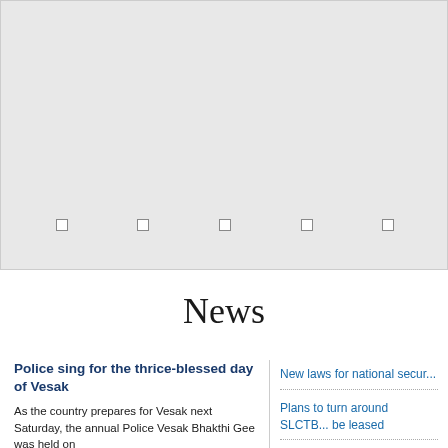[Figure (other): Gray banner/slideshow area with navigation dots at the bottom]
News
Police sing for the thrice-blessed day of Vesak
As the country prepares for Vesak next Saturday, the annual Police Vesak Bhakthi Gee was held on
New laws for national secur...
Plans to turn around SLCTB... be leased